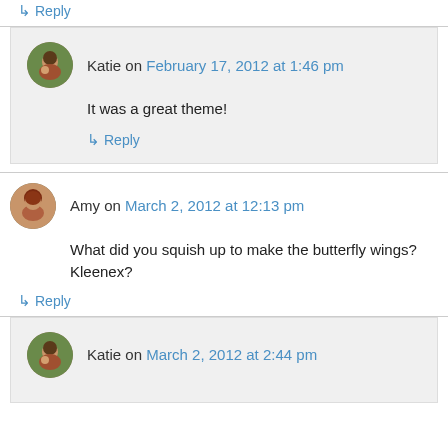↳ Reply
Katie on February 17, 2012 at 1:46 pm
It was a great theme!
↳ Reply
Amy on March 2, 2012 at 12:13 pm
What did you squish up to make the butterfly wings? Kleenex?
↳ Reply
Katie on March 2, 2012 at 2:44 pm